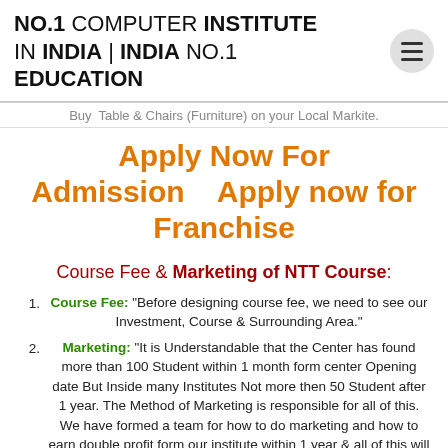NO.1 COMPUTER INSTITUTE IN INDIA | INDIA NO.1 EDUCATION
Buy Table & Chairs (Furniture) on your Local Markite.
Apply Now For Admission    Apply now for Franchise
Course Fee & Marketing of NTT Course:
Course Fee: "Before designing course fee, we need to see our Investment, Course & Surrounding Area."
Marketing: "It is Understandable that the Center has found more than 100 Student within 1 month form center Opening date But Inside many Institutes Not more then 50 Student after 1 year. The Method of Marketing is responsible for all of this. We have formed a team for how to do marketing and how to earn double profit form our institute within 1 year & all of this will be absolutely free of cost for you. To Know more Click on the